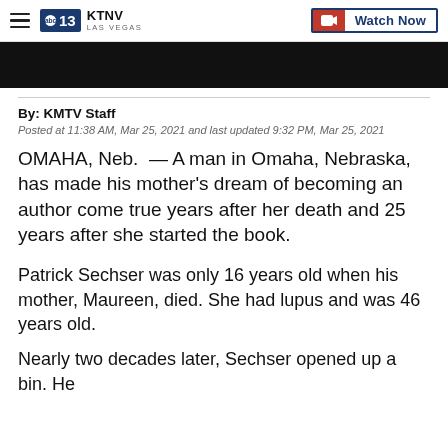KTNV LAS VEGAS — Watch Now
[Figure (screenshot): Black video player area]
By: KMTV Staff
Posted at 11:38 AM, Mar 25, 2021 and last updated 9:32 PM, Mar 25, 2021
OMAHA, Neb. — A man in Omaha, Nebraska, has made his mother's dream of becoming an author come true years after her death and 25 years after she started the book.
Patrick Sechser was only 16 years old when his mother, Maureen, died. She had lupus and was 46 years old.
Nearly two decades later, Sechser opened up a bin. He